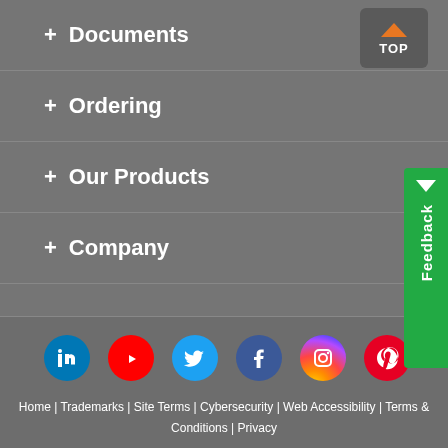+ Documents
+ Ordering
+ Our Products
+ Company
[Figure (infographic): Social media icons row: LinkedIn, YouTube, Twitter, Facebook, Instagram, Pinterest]
Home | Trademarks | Site Terms | Cybersecurity | Web Accessibility | Terms & Conditions | Privacy